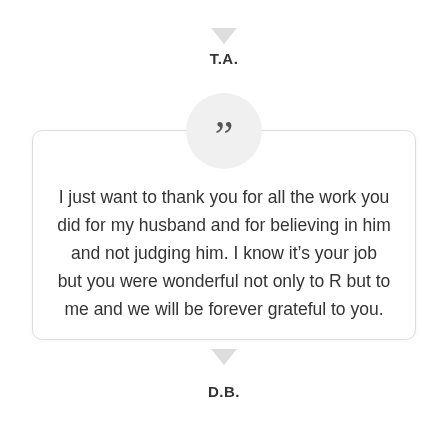T.A.
I just want to thank you for all the work you did for my husband and for believing in him and not judging him. I know it’s your job but you were wonderful not only to R but to me and we will be forever grateful to you.
D.B.